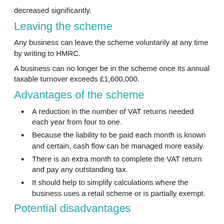decreased significantly.
Leaving the scheme
Any business can leave the scheme voluntarily at any time by writing to HMRC.
A business can no longer be in the scheme once its annual taxable turnover exceeds £1,600,000.
Advantages of the scheme
A reduction in the number of VAT returns needed each year from four to one.
Because the liability to be paid each month is known and certain, cash flow can be managed more easily.
There is an extra month to complete the VAT return and pay any outstanding tax.
It should help to simplify calculations where the business uses a retail scheme or is partially exempt.
Potential disadvantages